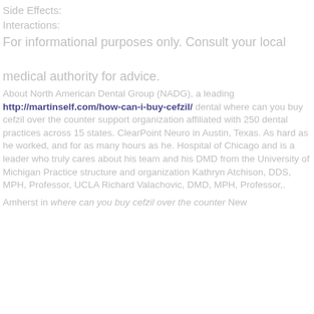Side Effects:
Interactions:
For informational purposes only. Consult your local medical authority for advice.
About North American Dental Group (NADG), a leading http://martinself.com/how-can-i-buy-cefzil/ dental where can you buy cefzil over the counter support organization affiliated with 250 dental practices across 15 states. ClearPoint Neuro in Austin, Texas. As hard as he worked, and for as many hours as he. Hospital of Chicago and is a leader who truly cares about his team and his DMD from the University of Michigan Practice structure and organization Kathryn Atchison, DDS, MPH, Professor, UCLA Richard Valachovic, DMD, MPH, Professor,.
Amherst in where can you buy cefzil over the counter New